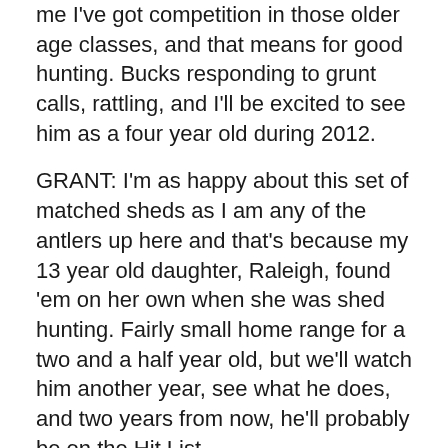me I've got competition in those older age classes, and that means for good hunting. Bucks responding to grunt calls, rattling, and I'll be excited to see him as a four year old during 2012.
GRANT: I'm as happy about this set of matched sheds as I am any of the antlers up here and that's because my 13 year old daughter, Raleigh, found 'em on her own when she was shed hunting. Fairly small home range for a two and a half year old, but we'll watch him another year, see what he does, and two years from now, he'll probably be on the Hit List.
GRANT: This left antler is from a buck we call Clean Nine.
GRANT: Clean Nine's a mystery buck. We had several images of him, during the real early season, or even pre-season, during our camera survey, and